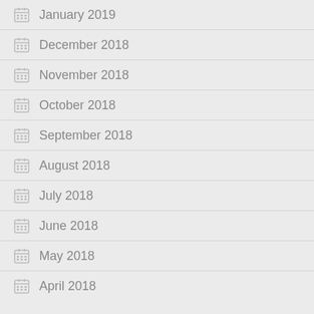January 2019
December 2018
November 2018
October 2018
September 2018
August 2018
July 2018
June 2018
May 2018
April 2018